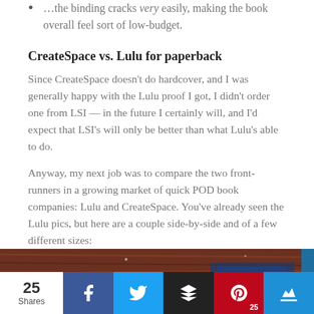...the binding cracks very easily, making the book overall feel sort of low-budget.
CreateSpace vs. Lulu for paperback
Since CreateSpace doesn't do hardcover, and I was generally happy with the Lulu proof I got, I didn't order one from LSI — in the future I certainly will, and I'd expect that LSI's will only be better than what Lulu's able to do.
Anyway, my next job was to compare the two front-runners in a growing market of quick POD book companies: Lulu and CreateSpace. You've already seen the Lulu pics, but here are a couple side-by-side and of a few different sizes:
[Figure (photo): Photo of books on a wooden surface showing book covers, partially cropped at bottom of page]
25 Shares — Facebook, Twitter, Buffer, Pinterest (25), Crown social share bar